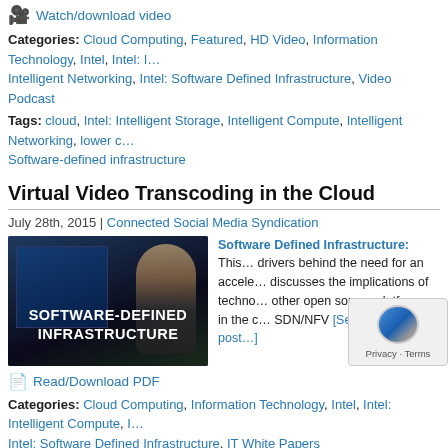Watch/download video
Categories: Cloud Computing, Featured, HD Video, Information Technology, Intel, Intel: Intelligent Networking, Intel: Software Defined Infrastructure, Video Podcast
Tags: cloud, Intel: Intelligent Storage, Intelligent Compute, Intelligent Networking, lower c…, Software-defined infrastructure
Virtual Video Transcoding in the Cloud
July 28th, 2015 | Connected Social Media Syndication
[Figure (photo): Dark promotional image with text 'SOFTWARE-DEFINED INFRASTRUCTURE' and a person sitting in front of multiple monitors]
Software Defined Infrastructure: This… drivers behind the need for an accele… discusses the implications of techno… other open source platforms in the c… SDN/NFV [See the full post…]
Read/Download PDF
Categories: Cloud Computing, Information Technology, Intel, Intel: Intelligent Compute, I… Intel: Software Defined Infrastructure, IT White Papers
Tags: cloud, Intel: Intelligent Storage, Intelligent Compute, Intelligent Networking, OpenS… Software-defined infrastructure, transcoding, video
Trusted Bare Metal – What's That?
July 27th, 2015 | Connected Social Media Syndication